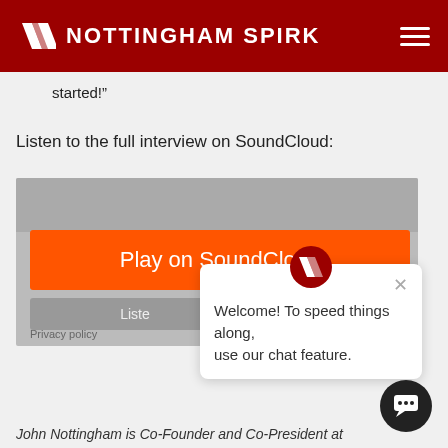Nottingham Spirk
started!”
Listen to the full interview on SoundCloud:
[Figure (screenshot): SoundCloud embedded player widget with orange 'Play on SoundCloud' button, gray background, and 'Privacy policy' text at bottom left]
[Figure (screenshot): Chat popup overlay with Nottingham Spirk logo badge at top center, close (X) button, and text 'Welcome! To speed things along, use our chat feature.']
John Nottingham is Co-Founder and Co-President at